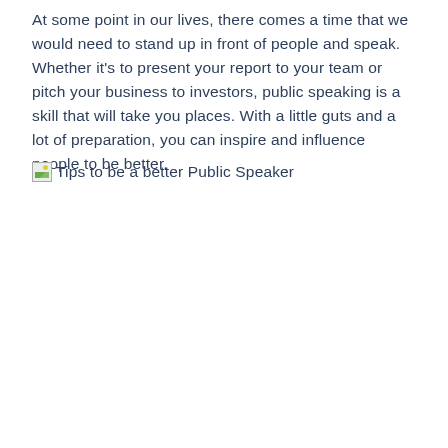At some point in our lives, there comes a time that we would need to stand up in front of people and speak. Whether it's to present your report to your team or pitch your business to investors, public speaking is a skill that will take you places. With a little guts and a lot of preparation, you can inspire and influence people to be better.
[Figure (other): Broken image placeholder with alt text: Tips to be a better Public Speaker]